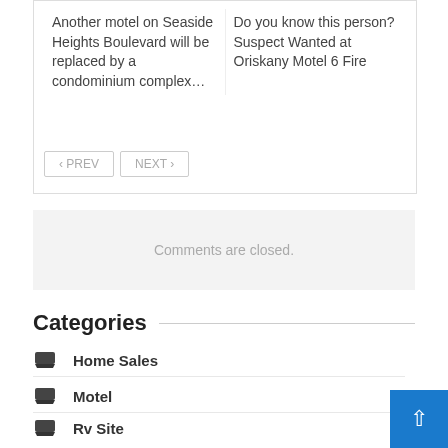Another motel on Seaside Heights Boulevard will be replaced by a condominium complex…
Do you know this person? Suspect Wanted at Oriskany Motel 6 Fire
‹ PREV
NEXT ›
Comments are closed.
Categories
Home Sales
Motel
Rv Site
Vacation Home